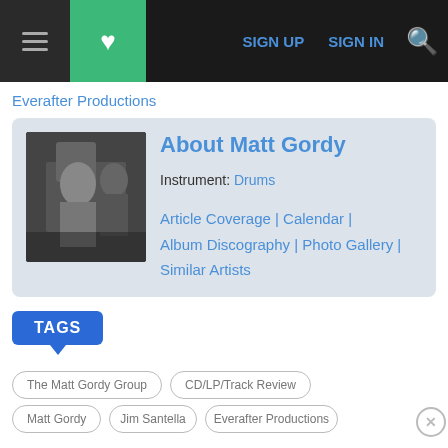SIGN UP | SIGN IN
Everafter Productions
About Matt Gordy
Instrument: Drums
Article Coverage | Calendar | Album Discography | Photo Gallery | Similar Artists
TAGS
The Matt Gordy Group
CD/LP/Track Review
Matt Gordy
Jim Santella
Everafter Productions